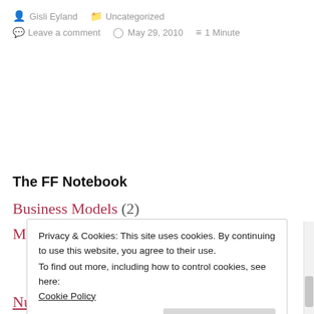Gisli Eyland   Uncategorized
Leave a comment   May 29, 2010   1 Minute
The FF Notebook
Business Models (2)
Mental Models (12)
Privacy & Cookies: This site uses cookies. By continuing to use this website, you agree to their use.
To find out more, including how to control cookies, see here: Cookie Policy
Close and accept
Nuggets (45)